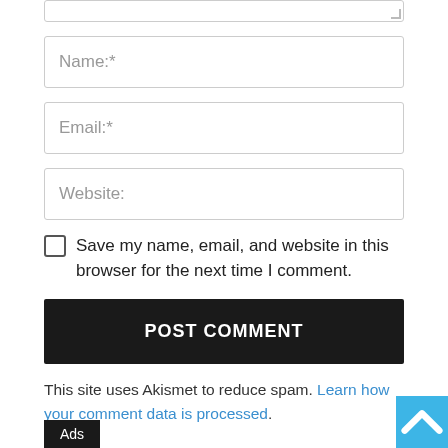[Figure (screenshot): Bottom portion of a comment form with Name, Email, Website input fields, a checkbox for saving browser data, a POST COMMENT button, and Akismet spam notice]
Name:*
Email:*
Website:
Save my name, email, and website in this browser for the next time I comment.
POST COMMENT
This site uses Akismet to reduce spam. Learn how your comment data is processed.
Ads